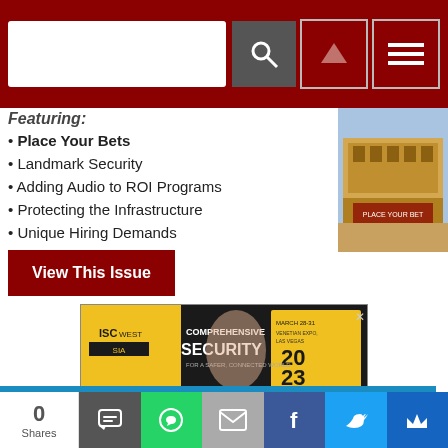Navigation header with search box and menu icons
Featuring:
Place Your Bets
Landmark Security
Adding Audio to ROI Programs
Protecting the Infrastructure
Unique Hiring Demands
[Figure (photo): Magazine cover thumbnail showing a grand building with people]
View This Issue
[Figure (photo): ISC West advertisement banner - Comprehensive Security for a safer, connected world. March 28-31, Venetian Expo Las Vegas, show floor March 29-31, Sunday Hall March 29-31. BE THE FIRST TO KNOW WHEN REGISTRATION OPENS at ISCWEST.com/PREREGS]
WEBINARS
"Think Legos." Establishing a Unified District Security
0 Shares - social share buttons: SMS, WhatsApp, Email, Facebook, Twitter, More